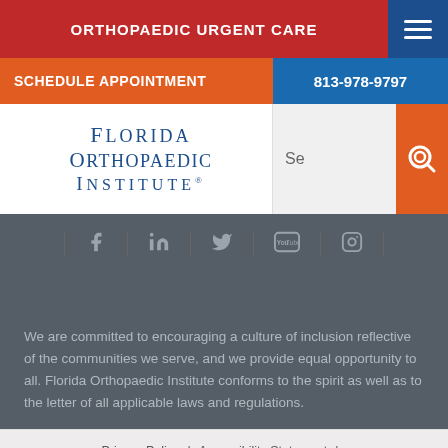ORTHOPAEDIC URGENT CARE
SCHEDULE APPOINTMENT
813-978-9797
[Figure (logo): Florida Orthopaedic Institute logo with serif text]
Se
[Figure (infographic): Social media icons: Facebook, LinkedIn, Twitter, YouTube, Instagram]
We are committed to encouraging a culture of inclusion reflective of the communities we serve, and we provide equal opportunity to all. Florida Orthopaedic Institute conforms to the spirit as well as to the letter of all applicable laws and regulations.
Privacy Policy | Accessibility Statement |